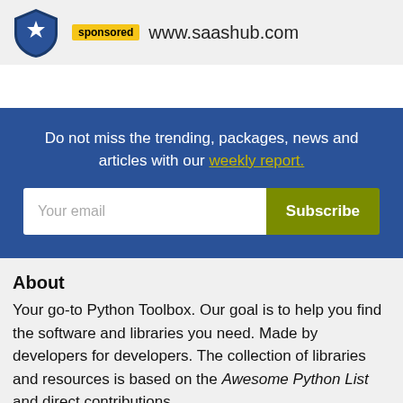[Figure (logo): SaaSHub shield logo (blue shield with white star/arrow) next to a yellow 'sponsored' badge and the URL www.saashub.com]
Do not miss the trending, packages, news and articles with our weekly report.
Your email [input field] Subscribe [button]
About
Your go-to Python Toolbox. Our goal is to help you find the software and libraries you need. Made by developers for developers. The collection of libraries and resources is based on the Awesome Python List and direct contributions